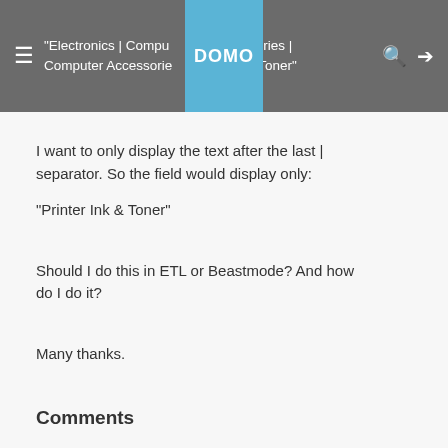"Electronics | Computer Accessories | Computer Accessories | Printer Ink & Toner"
I want to only display the text after the last | separator.  So the field would display only:
"Printer Ink & Toner"
Should I do this in ETL or Beastmode?  And how do I do it?
Many thanks.
Comments